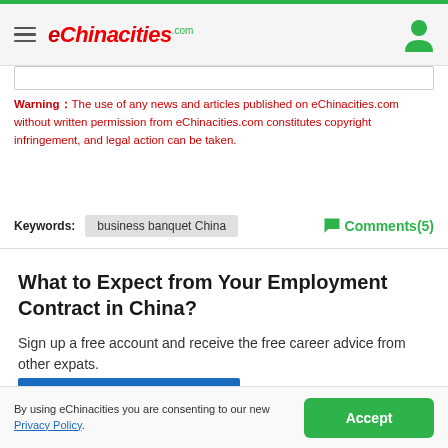eChinacities.com
Warning The use of any news and articles published on eChinacities.com without written permission from eChinacities.com constitutes copyright infringement, and legal action can be taken.
Keywords: business banquet China    Comments(5)
What to Expect from Your Employment Contract in China?
Sign up a free account and receive the free career advice from other expats.
Sign up with Google
By using eChinacities you are consenting to our new Privacy Policy.